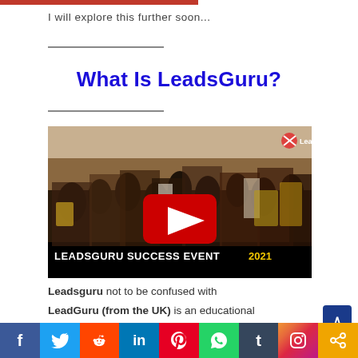I will explore this further soon...
What Is LeadsGuru?
[Figure (screenshot): YouTube video thumbnail showing a group of people at an event. Text overlay reads 'LEADSGURU SUCCESS EVENT 2021'. A red YouTube play button is centered on the image. LeadsGuru watermark in top-right corner.]
Leadsguru not to be confused with LeadGuru (from the UK) is an educational
f  Twitter  Reddit  in  Pinterest  WhatsApp  t  Instagram  Share